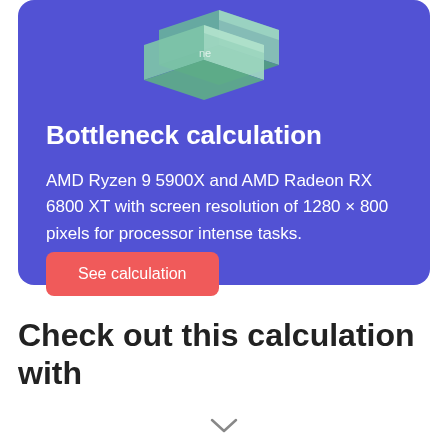[Figure (illustration): CPU/GPU chip hardware illustration shown partially at top of blue card]
Bottleneck calculation
AMD Ryzen 9 5900X and AMD Radeon RX 6800 XT with screen resolution of 1280 × 800 pixels for processor intense tasks.
See calculation
Check out this calculation with